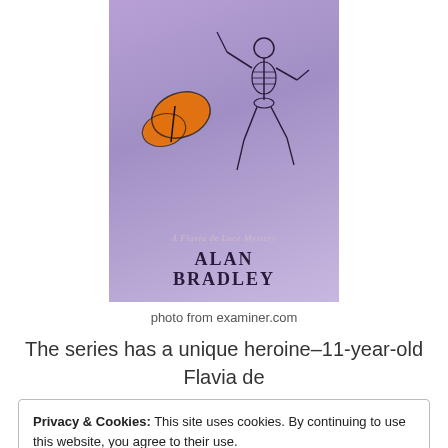[Figure (photo): Book cover of a Flavia de Luce Mystery by Alan Bradley, with purple background, a skeleton dancing figure, and a monarch butterfly. Subtitle reads 'A Flavia de Luce Mystery'. Author name shown as ALAN BRADLEY.]
photo from examiner.com
The series has a unique heroine–11-year-old Flavia de
Privacy & Cookies: This site uses cookies. By continuing to use this website, you agree to their use.
To find out more, including how to control cookies, see here: Cookie Policy
Close and accept
learn and pays attention to what's going on around